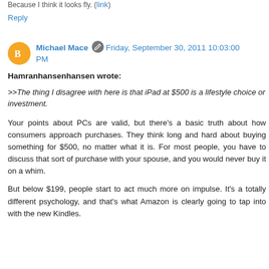Because I think it looks fly. (link)
Reply
Michael Mace  Friday, September 30, 2011 10:03:00 PM
Hamranhansenhansen wrote:
>>The thing I disagree with here is that iPad at $500 is a lifestyle choice or investment.
Your points about PCs are valid, but there's a basic truth about how consumers approach purchases. They think long and hard about buying something for $500, no matter what it is. For most people, you have to discuss that sort of purchase with your spouse, and you would never buy it on a whim.
But below $199, people start to act much more on impulse. It's a totally different psychology, and that's what Amazon is clearly going to tap into with the new Kindles.